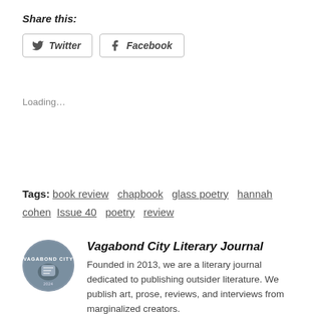Share this:
Twitter  Facebook
Loading…
Tags: book review  chapbook  glass poetry  hannah cohen  Issue 40  poetry  review
[Figure (illustration): Circular avatar photo of the Vagabond City Literary Journal, showing a hand tattoo against a blue background with text 'VAGABOND CITY' around the edge.]
Vagabond City Literary Journal
Founded in 2013, we are a literary journal dedicated to publishing outsider literature. We publish art, prose, reviews, and interviews from marginalized creators.